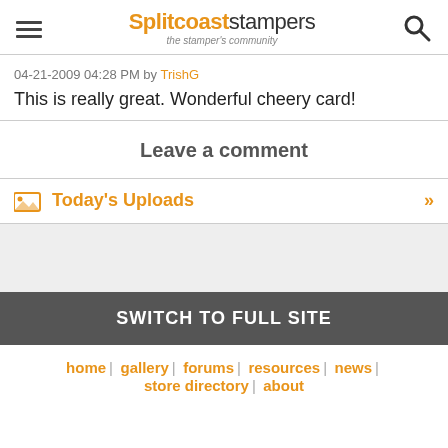Splitcoaststampers — the stamper's community
04-21-2009 04:28 PM by TrishG
This is really great. Wonderful cheery card!
Leave a comment
Today's Uploads »
SWITCH TO FULL SITE
home | gallery | forums | resources | news | store directory | about